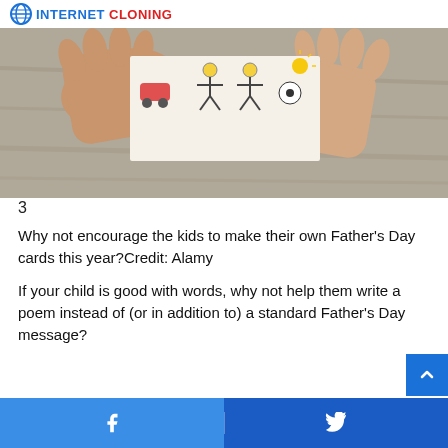INTERNET CLONING
[Figure (photo): Person's hands holding open a children's drawing/card on a wooden table, viewed from above]
3
Why not encourage the kids to make their own Father's Day cards this year?Credit: Alamy
If your child is good with words, why not help them write a poem instead of (or in addition to) a standard Father's Day message?
Facebook Twitter